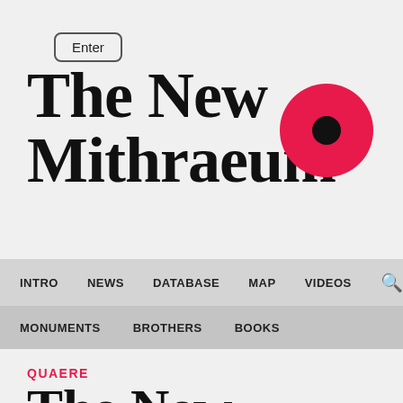[Figure (logo): Enter button with rounded border in top left corner]
The New Mithraeum
[Figure (logo): Red circle with black dot in center, resembling a poppy or eye logo]
INTRO   NEWS   DATABASE   MAP   VIDEOS   (search icon)
MONUMENTS   BROTHERS   BOOKS
QUAERE
The New Mithraeum Database